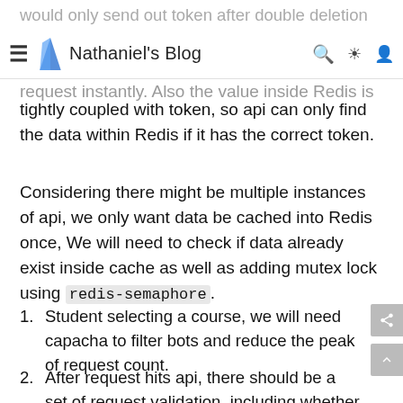Nathaniel's Blog
request instantly. Also the value inside Redis is tightly coupled with token, so api can only find the data within Redis if it has the correct token.
Considering there might be multiple instances of api, we only want data be cached into Redis once, We will need to check if data already exist inside cache as well as adding mutex lock using redis-semaphore.
Student selecting a course, we will need capacha to filter bots and reduce the peak of request count.
After request hits api, there should be a set of request validation, including whether user is authenticated, capacha, random token and if